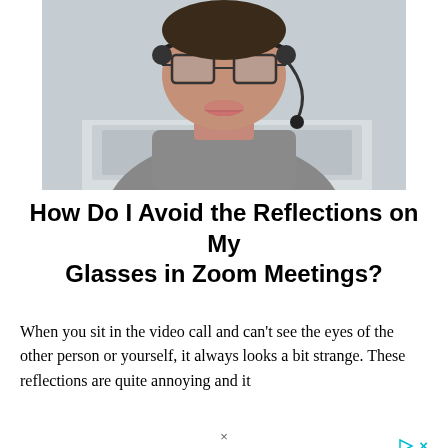[Figure (photo): Photo of a person wearing glasses and a headset/microphone, sitting in front of a laptop. The person is wearing a grey turtleneck sweater. The image is cropped to show from the nose down to the chest area.]
How Do I Avoid the Reflections on My Glasses in Zoom Meetings?
When you sit in the video call and can't see the eyes of the other person or yourself, it always looks a bit strange. These reflections are quite annoying and it
[Figure (other): Ad icons: a play triangle and an X in cyan/teal color]